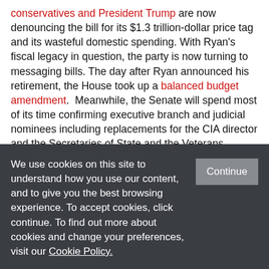conservatives and President Trump are now denouncing the bill for its $1.3 trillion-dollar price tag and its wasteful domestic spending. With Ryan's fiscal legacy in question, the party is now turning to messaging bills. The day after Ryan announced his retirement, the House took up a balanced budget amendment.  Meanwhile, the Senate will spend most of its time confirming executive branch and judicial nominees including replacements for the CIA director and the Secretaries of State and the Veterans Administration that President Trump has fired. The life-time judicial appointments can secure a conservative legacy on the courts beyond the Trump presidency. With grand policy proposals like entitlement reform off the table and a constant stream of controversy emanating from the
We use cookies on this site to understand how you use our content, and to give you the best browsing experience. To accept cookies, click continue. To find out more about cookies and change your preferences, visit our Cookie Policy.